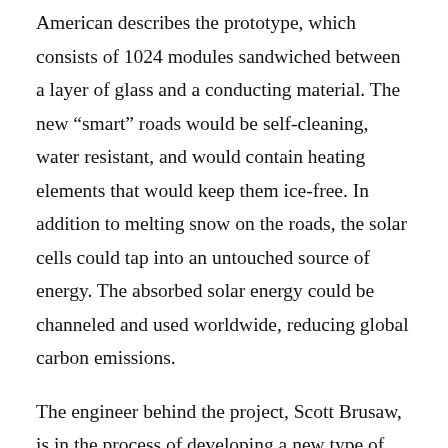American describes the prototype, which consists of 1024 modules sandwiched between a layer of glass and a conducting material. The new “smart” roads would be self-cleaning, water resistant, and would contain heating elements that would keep them ice-free. In addition to melting snow on the roads, the solar cells could tap into an untouched source of energy. The absorbed solar energy could be channeled and used worldwide, reducing global carbon emissions.
The engineer behind the project, Scott Brusaw, is in the process of developing a new type of glass with increased strength and consistent traction.